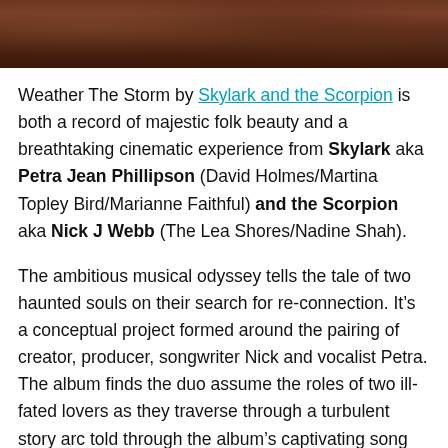[Figure (photo): Dark reddish-brown landscape/nature photo strip at the top of the page]
Weather The Storm by Skylark and the Scorpion is both a record of majestic folk beauty and a breathtaking cinematic experience from Skylark aka Petra Jean Phillipson (David Holmes/Martina Topley Bird/Marianne Faithful) and the Scorpion aka Nick J Webb (The Lea Shores/Nadine Shah).
The ambitious musical odyssey tells the tale of two haunted souls on their search for re-connection. It’s a conceptual project formed around the pairing of creator, producer, songwriter Nick and vocalist Petra. The album finds the duo assume the roles of two ill-fated lovers as they traverse through a turbulent story arc told through the album’s captivating song cycle. A real labour of love, the record arrives at the end of a journey almost as epic in reality as it is in its fiction.